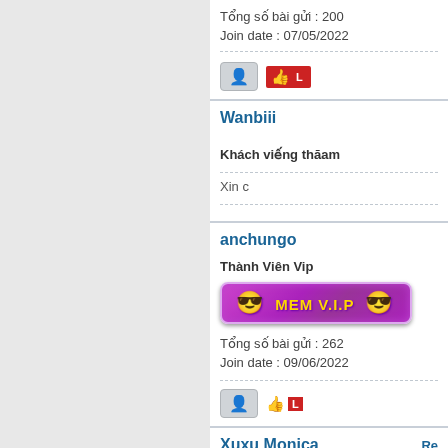Tổng số bài gửi : 200
Join date : 07/05/2022
Wanbiii
Khách viếng thăm
Xin c...
anchungo
Thành Viên Vip
[Figure (illustration): MEM V.I.P badge — purple gradient banner with two emoji faces wearing sunglasses on each side and gold text 'MEM V.I.P' in the center]
Tổng số bài gửi : 262
Join date : 09/06/2022
Xuxu Monica